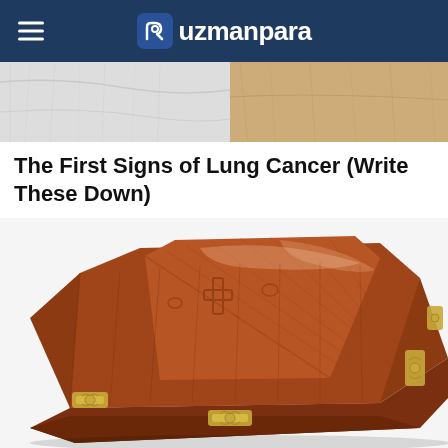uzmanpara
[Figure (photo): Partial view of white fabric/bedding and brown paper or document background]
The First Signs of Lung Cancer (Write These Down)
Lung
[Figure (photo): A wooden coffin with brass handles on a white background, viewed from a three-quarter angle showing the lid and side]